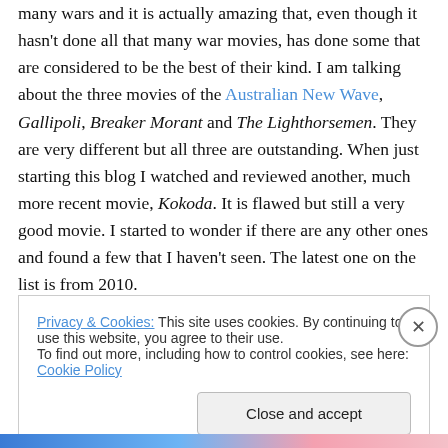many wars and it is actually amazing that, even though it hasn't done all that many war movies, has done some that are considered to be the best of their kind. I am talking about the three movies of the Australian New Wave, Gallipoli, Breaker Morant and The Lighthorsemen. They are very different but all three are outstanding. When just starting this blog I watched and reviewed another, much more recent movie, Kokoda. It is flawed but still a very good movie. I started to wonder if there are any other ones and found a few that I haven't seen. The latest one on the list is from 2010.
Privacy & Cookies: This site uses cookies. By continuing to use this website, you agree to their use.
To find out more, including how to control cookies, see here: Cookie Policy